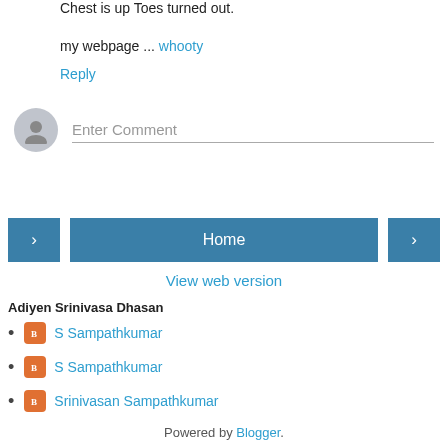Chest is up Toes turned out.
my webpage ... whooty
Reply
[Figure (other): Comment input area with avatar placeholder and 'Enter Comment' text field]
[Figure (other): Navigation buttons: left arrow, Home, right arrow]
View web version
Adiyen Srinivasa Dhasan
S Sampathkumar
S Sampathkumar
Srinivasan Sampathkumar
Powered by Blogger.